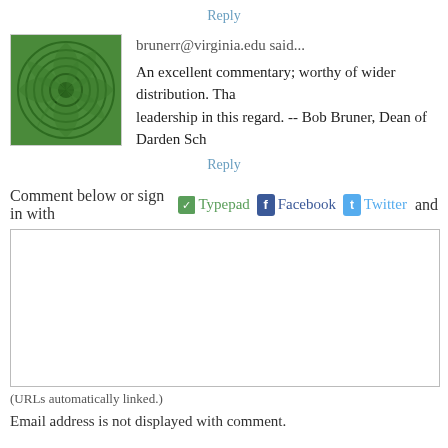Reply
brunerr@virginia.edu said...
An excellent commentary; worthy of wider distribution. Tha... leadership in this regard. -- Bob Bruner, Dean of Darden Sch...
Reply
Comment below or sign in with  Typepad  Facebook  Twitter and
(URLs automatically linked.)
Email address is not displayed with comment.